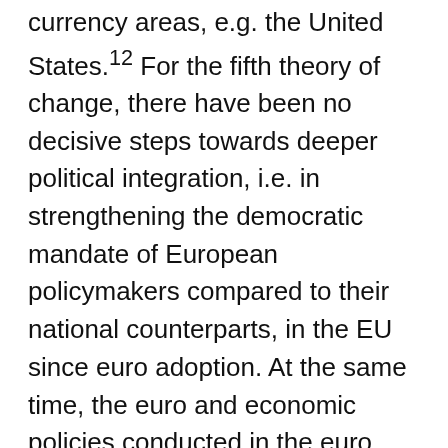currency areas, e.g. the United States.¹² For the fifth theory of change, there have been no decisive steps towards deeper political integration, i.e. in strengthening the democratic mandate of European policymakers compared to their national counterparts, in the EU since euro adoption. At the same time, the euro and economic policies conducted in the euro area have been increasingly controversial and heavily debated since 2010. As certain policies have been associated with individual EAMS, such as austerity with Germany or fiscal profligacy with periphery countries, the euro and the policies conducted in the euro area have become an important issue in national politics. In some countries, they have influenced the rise of new political parties with a